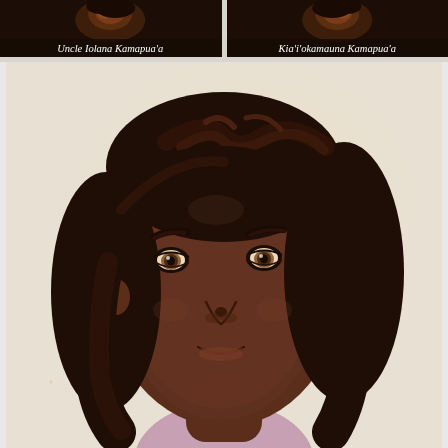[Figure (illustration): Top-left card showing a dark-toned illustrated character with brown tones, labeled 'Uncle Iolana Kamapua'a' in italic white text on a dark banner at the bottom.]
[Figure (illustration): Top-right card showing a dark-toned illustrated character, labeled 'Kia'i'okamauna Kamapua'a' in italic white text on a dark banner at the bottom.]
[Figure (illustration): Main large portrait illustration of a young person with dark brown shoulder-length hair, dark skin, brown eyes, slight smile, wearing a light pink/mauve top. Background is a soft warm glow of golden-beige with light speckles.]